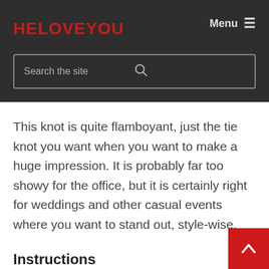HELOVEYOU
[Figure (screenshot): Search bar with placeholder text 'Search the site' and a search icon on the right]
This knot is quite flamboyant, just the tie knot you want when you want to make a huge impression. It is probably far too showy for the office, but it is certainly right for weddings and other casual events where you want to stand out, style-wise.
Instructions
1. Cross the thick part of the tie over the thin...